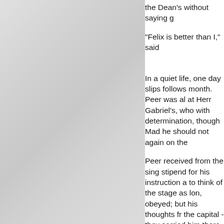[Figure (illustration): Grayscale illustration or photographic image occupying the left portion of the page]
the Dean's without saying g

"Felix is better than I," said

In a quiet life, one day slips follows month. Peer was al at Herr Gabriel's, who with determination, though Mad he should not again on the

Peer received from the sing stipend for his instruction a to think of the stage as lon, obeyed; but his thoughts fr the capital - they carried him there, where he was to hav his voice was gone, and it d grieved him. Who could cor Madam, but our Lord surely many ways. Peer found it in

One night he dreamed that